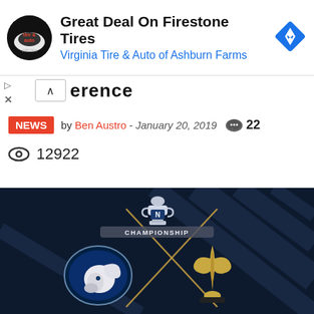[Figure (screenshot): Advertisement banner for Virginia Tire & Auto of Ashburn Farms with logo, headline 'Great Deal On Firestone Tires', and a blue diamond navigation icon]
erence
NEWS  by Ben Austro - January 20, 2019  💬 22
👁 12922
[Figure (photo): NFC Championship game graphic featuring LA Rams vs New Orleans Saints logos crossed with gold X on dark navy background with NFC Championship trophy logo]